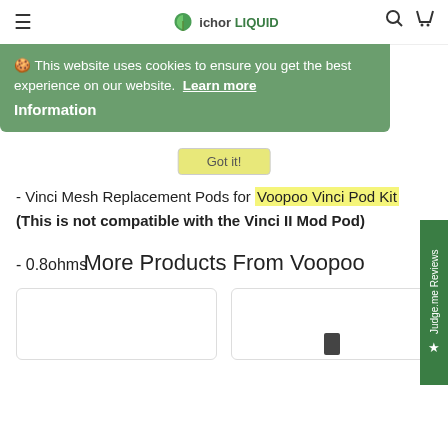ichor LIQUID
🍪 This website uses cookies to ensure you get the best experience on our website. Learn more
Information
Got it!
- Vinci Mesh Replacement Pods for Voopoo Vinci Pod Kit
(This is not compatible with the Vinci II Mod Pod)
- 0.8ohms
- Capacity: 2ml
- Pack of 3
More Products From Voopoo